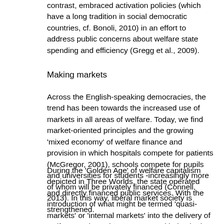contrast, embraced activation policies (which have a long tradition in social democratic countries, cf. Bonoli, 2010) in an effort to address public concerns about welfare state spending and efficiency (Gregg et al., 2009).
Making markets
Across the English-speaking democracies, the trend has been towards the increased use of markets in all areas of welfare. Today, we find market-oriented principles and the growing 'mixed economy' of welfare finance and provision in which hospitals compete for patients (McGregor, 2001), schools compete for pupils and universities for students -increasingly more of whom will be privately financed (Connell, 2013). In this way, liberal market society is strengthened.
During the 'Golden Age' of welfare capitalism depicted in Three Worlds, the state operated and directly financed public services. With the introduction of what might be termed 'quasi-markets' or 'internal markets' into the delivery of welfare services, the state stopped being both the funder and the provider of services (Le Grand and Bartlett, 1993). Under the